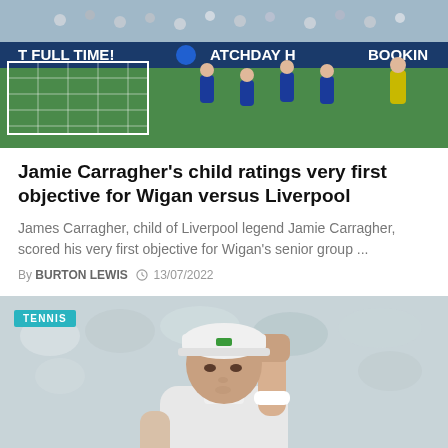[Figure (photo): Soccer match scene showing players in blue Chelsea kits near a goal, with a goalkeeper in yellow. Scoreboard banners visible reading 'T FULL TIME!', 'ATCHDAY H', 'BOOKIN'.]
Jamie Carragher's child ratings very first objective for Wigan versus Liverpool
James Carragher, child of Liverpool legend Jamie Carragher, scored his very first objective for Wigan's senior group ...
By BURTON LEWIS  13/07/2022
[Figure (photo): Tennis player (Novak Djokovic) in white kit, fist raised in celebration at Wimbledon, crowd blurred in background. TENNIS badge overlay top left.]